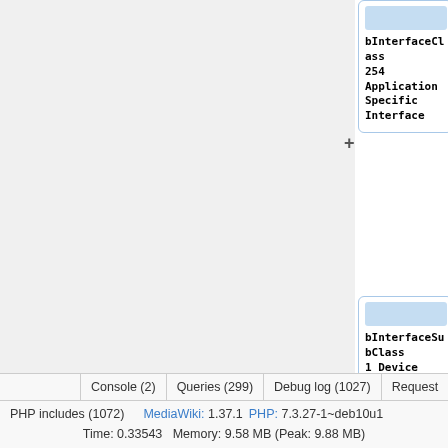[Figure (screenshot): MediaWiki debug interface showing a tree/hierarchy view with nodes: bInterfaceClass 254 Application Specific Interface, bInterfaceSubClass 1 Device Firmware Update, bInterfaceProtocol 2. Each node has a '+' expand button and a blue header bar.]
bInterfaceClass
ass
+ 254 Application Specific Interface
+ bInterfaceSubClass
bClass
1 Device Firmware Update
+ bInterfaceProtocol
2
Console (2)   Queries (299)   Debug log (1027)   Request
PHP includes (1072)   MediaWiki: 1.37.1   PHP: 7.3.27-1~deb10u1
Time: 0.33543   Memory: 9.58 MB (Peak: 9.88 MB)